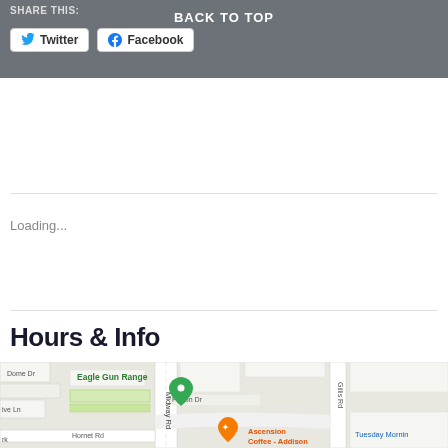BACK TO TOP
SHARE THIS:
Twitter   Facebook
Loading...
Hours & Info
[Figure (map): Google Maps screenshot showing Eagle Gun Range location on Midway Rd near Proton Dr and Hornet Rd, with Ascension Coffee - Addison and Tuesday Morning visible, Gillis Rd shown on the right side.]